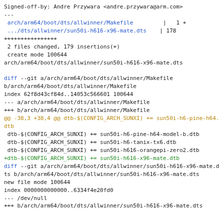Signed-off-by: Andre Przywara <andre.przywara@arm.com>
---
 arch/arm64/boot/dts/allwinner/Makefile         |   1 +
 .../dts/allwinner/sun50i-h616-x96-mate.dts    | 178 ++++++++++++++++
 2 files changed, 179 insertions(+)
 create mode 100644
arch/arm64/boot/dts/allwinner/sun50i-h616-x96-mate.dts

diff --git a/arch/arm64/boot/dts/allwinner/Makefile
b/arch/arm64/boot/dts/allwinner/Makefile
index 62f8d43cf84d..14053c566601 100644
--- a/arch/arm64/boot/dts/allwinner/Makefile
+++ b/arch/arm64/boot/dts/allwinner/Makefile
@@ -38,3 +38,4 @@ dtb-$(CONFIG_ARCH_SUNXI) += sun50i-h6-pine-h64.dtb
 dtb-$(CONFIG_ARCH_SUNXI) += sun50i-h6-pine-h64-model-b.dtb
 dtb-$(CONFIG_ARCH_SUNXI) += sun50i-h6-tanix-tx6.dtb
 dtb-$(CONFIG_ARCH_SUNXI) += sun50i-h616-orangepi-zero2.dtb
+dtb-$(CONFIG_ARCH_SUNXI) += sun50i-h616-x96-mate.dtb
diff --git a/arch/arm64/boot/dts/allwinner/sun50i-h616-x96-mate.dts b/arch/arm64/boot/dts/allwinner/sun50i-h616-x96-mate.dts
new file mode 100644
index 0000000000000..6334f4e20fd0
--- /dev/null
+++ b/arch/arm64/boot/dts/allwinner/sun50i-h616-x96-mate.dts